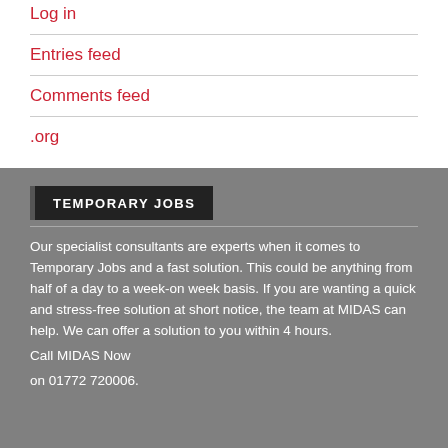Log in
Entries feed
Comments feed
.org
TEMPORARY JOBS
Our specialist consultants are experts when it comes to Temporary Jobs and a fast solution. This could be anything from half of a day to a week-on week basis. If you are wanting a quick and stress-free solution at short notice, the team at MIDAS can help. We can offer a solution to you within 4 hours.
Call MIDAS Now
on 01772 720006.